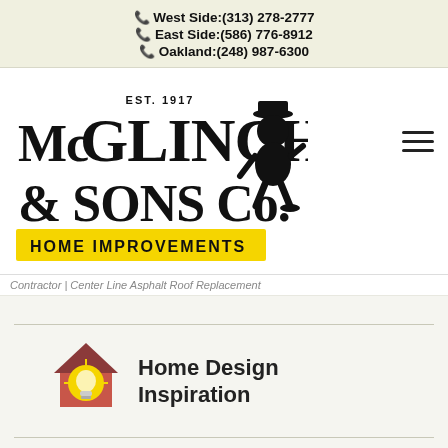West Side:(313) 278-2777 | East Side:(586) 776-8912 | Oakland:(248) 987-6300
[Figure (logo): McGlinch & Sons Co. Home Improvements logo with EST. 1917 text and silhouette figure mascot]
Contractor | Center Line Asphalt Roof Replacement
[Figure (illustration): House with lightbulb icon for Home Design Inspiration section]
Home Design Inspiration
[Figure (logo): JamesHardie logo with JH circular emblem]